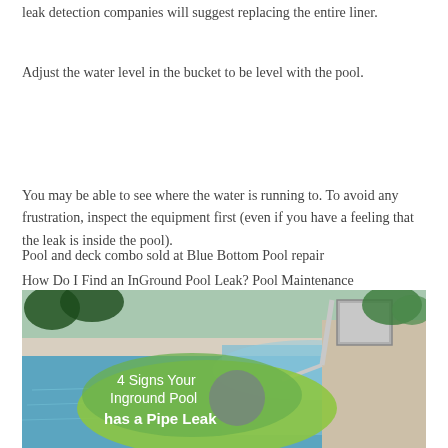leak detection companies will suggest replacing the entire liner.
Adjust the water level in the bucket to be level with the pool.
You may be able to see where the water is running to. To avoid any frustration, inspect the equipment first (even if you have a feeling that the leak is inside the pool).
Pool and deck combo sold at Blue Bottom Pool repair
How Do I Find an InGround Pool Leak? Pool Maintenance
[Figure (photo): Photo of an inground pool with metal handrail and pool steps, overlaid with a green speech-bubble graphic reading '4 Signs Your Inground Pool has a Pipe Leak' in white text.]